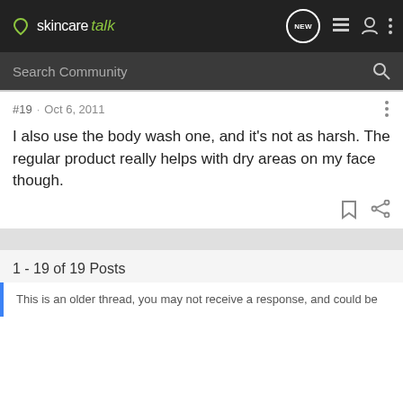skincaretalk — navigation bar with NEW, list, user, and more icons
Search Community
#19 · Oct 6, 2011
I also use the body wash one, and it's not as harsh. The regular product really helps with dry areas on my face though.
1 - 19 of 19 Posts
This is an older thread, you may not receive a response, and could be